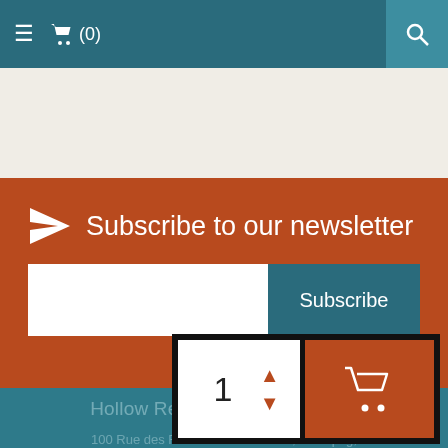≡  🛒 (0)  🔍
[Figure (screenshot): Navigation bar with hamburger menu, cart icon showing (0) items, and search button on teal background]
Subscribe to our newsletter
Subscribe
Hollow Reed School of Healing Arts & Her...
100 Rue des Ruines du Monastere, Winnipeg,
[Figure (other): Add to cart widget showing quantity selector with value 1 and arrow buttons, plus orange cart button with shopping cart icon]